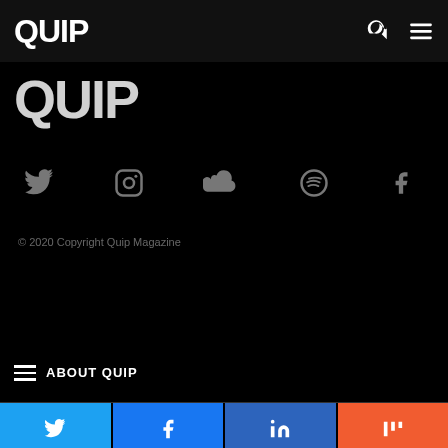QUIP
QUIP
[Figure (infographic): Social media icons row: Twitter, Instagram, SoundCloud, Spotify, Facebook — all in grey on black background]
© 2020 Copyright Quip Magazine
ABOUT QUIP
[Figure (infographic): Share bar with four buttons: Twitter (light blue), Facebook (dark blue), LinkedIn (navy blue), Mix (orange)]